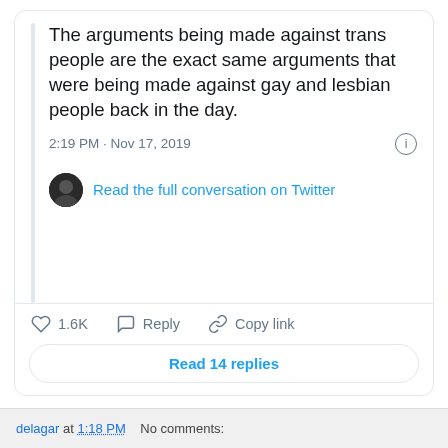[Figure (screenshot): Embedded tweet card showing a tweet with text about arguments against trans people being the same as arguments against gay and lesbian people, dated 2:19 PM Nov 17, 2019, with like/reply/copy link actions and a Read 14 replies button]
I mean, let's face it: bigotry is bigotry. Their playbook ain't change.
delagar at 1:18 PM    No comments: